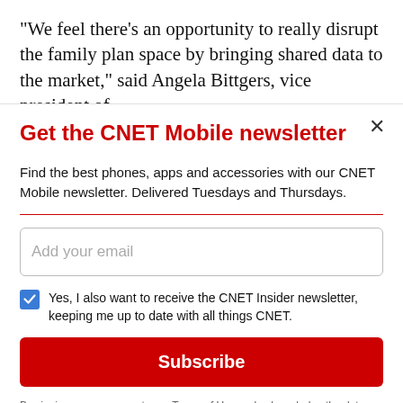"We feel there's an opportunity to really disrupt the family plan space by bringing shared data to the market," said Angela Bittgers, vice president of
Get the CNET Mobile newsletter
Find the best phones, apps and accessories with our CNET Mobile newsletter. Delivered Tuesdays and Thursdays.
Add your email
Yes, I also want to receive the CNET Insider newsletter, keeping me up to date with all things CNET.
Subscribe
By signing up, you agree to our Terms of Use and acknowledge the data practices in our Privacy Policy. You may unsubscribe at any time.